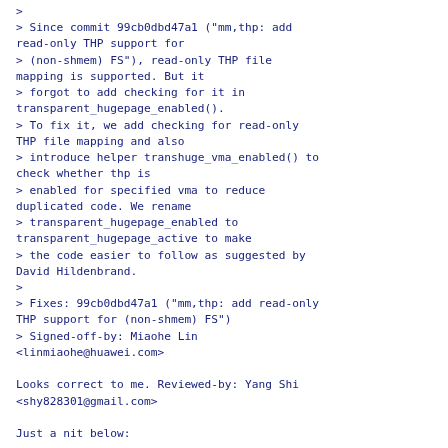>
> Since commit 99cb0dbd47a1 ("mm,thp: add read-only THP support for
> (non-shmem) FS"), read-only THP file mapping is supported. But it
> forgot to add checking for it in transparent_hugepage_enabled().
> To fix it, we add checking for read-only THP file mapping and also
> introduce helper transhuge_vma_enabled() to check whether thp is
> enabled for specified vma to reduce duplicated code. We rename
> transparent_hugepage_enabled to transparent_hugepage_active to make
> the code easier to follow as suggested by David Hildenbrand.
>
> Fixes: 99cb0dbd47a1 ("mm,thp: add read-only THP support for (non-shmem) FS")
> Signed-off-by: Miaohe Lin <linmiaohe@huawei.com>

Looks correct to me. Reviewed-by: Yang Shi <shy828301@gmail.com>

Just a nit below:

> ---
> fs/proc/task_mmu.c     | 2 +-